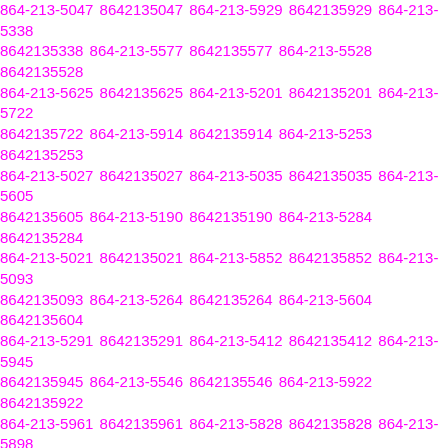8642135047 864-213-5047 8642135047 864-213-5929 8642135929 864-213-5338 8642135338 864-213-5577 8642135577 864-213-5528 8642135528 864-213-5625 8642135625 864-213-5201 8642135201 864-213-5722 8642135722 864-213-5914 8642135914 864-213-5253 8642135253 864-213-5027 8642135027 864-213-5035 8642135035 864-213-5605 8642135605 864-213-5190 8642135190 864-213-5284 8642135284 864-213-5021 8642135021 864-213-5852 8642135852 864-213-5093 8642135093 864-213-5264 8642135264 864-213-5604 8642135604 864-213-5291 8642135291 864-213-5412 8642135412 864-213-5945 8642135945 864-213-5546 8642135546 864-213-5922 8642135922 864-213-5961 8642135961 864-213-5828 8642135828 864-213-5898 8642135898 864-213-5693 8642135693 864-213-5149 8642135149 864-213-5583 8642135583 864-213-5867 8642135867 864-213-5242 8642135242 864-213-5352 8642135352 864-213-5614 8642135614 864-213-5257 8642135257 864-213-5435 8642135435 864-213-5650 8642135650 864-213-5874 8642135874 864-213-5679 8642135679 864-213-5611 8642135611 864-213-5921 8642135921 864-213-5133 8642135133 864-213-5954 8642135954 864-213-5401 8642135401 864-213-5011 8642135011 864-213-5303 8642135303 864-213-5295 8642135295 864-213-5393 8642135393 864-213-5089 8642135089 864-213-5462 8642135462 864-213-5312 8642135312 864-213-5706 8642135706 864-213-5857 8642135857 864-213-5623 8642135623 864-213-5784 8642135784 864-213-5931 8642135931 864-213-5800 8642135800 864-213-5399 8642135399 864-213-5941 8642135941 864-213-5678 8642135678 864-213-5834 8642135834 864-213-5...